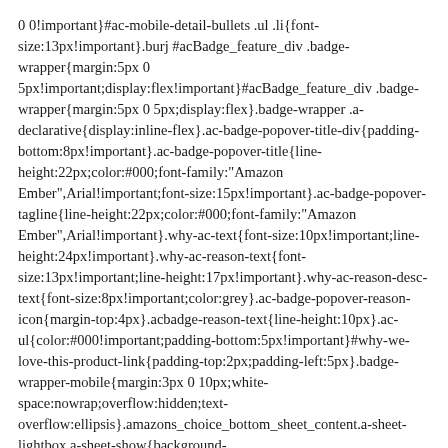0 0!important}#ac-mobile-detail-bullets .ul .li{font-size:13px!important}.burj #acBadge_feature_div .badge-wrapper{margin:5px 0 5px!important;display:flex!important}#acBadge_feature_div .badge-wrapper{margin:5px 0 5px;display:flex}.badge-wrapper .a-declarative{display:inline-flex}.ac-badge-popover-title-div{padding-bottom:8px!important}.ac-badge-popover-title{line-height:22px;color:#000;font-family:"Amazon Ember",Arial!important;font-size:15px!important}.ac-badge-popover-tagline{line-height:22px;color:#000;font-family:"Amazon Ember",Arial!important}.why-ac-text{font-size:10px!important;line-height:24px!important}.why-ac-reason-text{font-size:13px!important;line-height:17px!important}.why-ac-reason-desc-text{font-size:8px!important;color:grey}.ac-badge-popover-reason-icon{margin-top:4px}.acbadge-reason-text{line-height:10px}.ac-ul{color:#000!important;padding-bottom:5px!important}#why-we-love-this-product-link{padding-top:2px;padding-left:5px}.badge-wrapper-mobile{margin:3px 0 10px;white-space:nowrap;overflow:hidden;text-overflow:ellipsis}.amazons_choice_bottom_sheet_content.a-sheet-lightbox.a-sheet-show{background-color:rgba(0,0,0,.75)}.container{padding:20px}.for-ac-text-flyover{margin-left:5px!important;vertical-